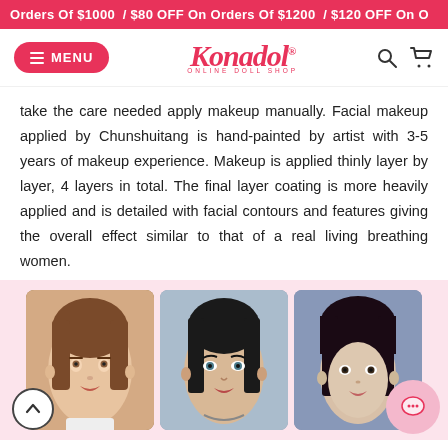Orders Of $1000 / $80 OFF On Orders Of $1200 / $120 OFF On O
[Figure (screenshot): Website navigation bar with MENU button, Konadoll logo with tagline ONLINE DOLL SHOP, search icon, and cart icon]
take the care needed apply makeup manually. Facial makeup applied by Chunshuitang is hand-painted by artist with 3-5 years of makeup experience. Makeup is applied thinly layer by layer, 4 layers in total. The final layer coating is more heavily applied and is detailed with facial contours and features giving the overall effect similar to that of a real living breathing women.
[Figure (photo): Three realistic female doll head photos showing different facial appearances and hairstyles against light backgrounds]